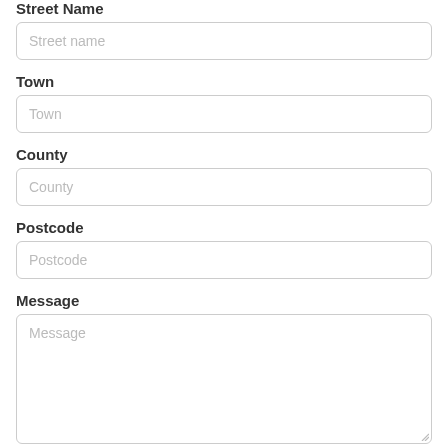Street Name
Street name
Town
Town
County
County
Postcode
Postcode
Message
Message